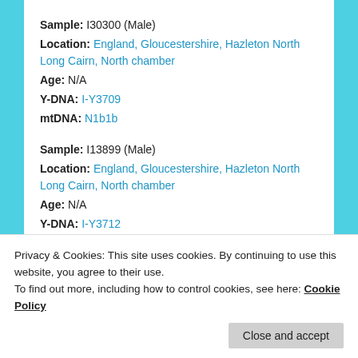Sample: I30300 (Male)
Location: England, Gloucestershire, Hazleton North Long Cairn, North chamber
Age: N/A
Y-DNA: I-Y3709
mtDNA: N1b1b
Sample: I13899 (Male)
Location: England, Gloucestershire, Hazleton North Long Cairn, North chamber
Age: N/A
Y-DNA: I-Y3712
mtDNA: U3a1
Privacy & Cookies: This site uses cookies. By continuing to use this website, you agree to their use.
To find out more, including how to control cookies, see here: Cookie Policy
mtDNA: K1a4